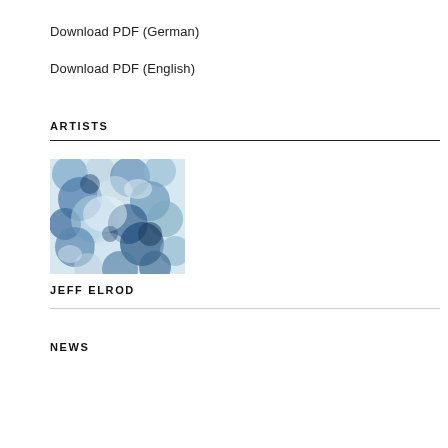Download PDF (German)
Download PDF (English)
ARTISTS
[Figure (photo): Abstract blue and white mottled texture artwork image for Jeff Elrod]
JEFF ELROD
NEWS